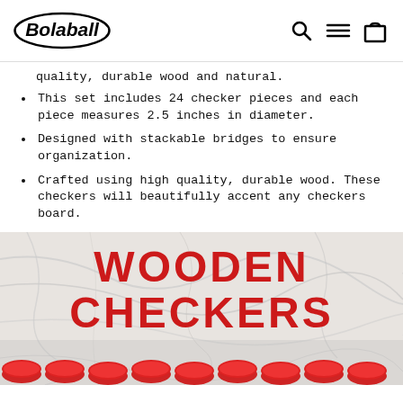Bolaball [logo] [search icon] [menu icon] [cart icon]
quality, durable wood and natural.
This set includes 24 checker pieces and each piece measures 2.5 inches in diameter.
Designed with stackable bridges to ensure organization.
Crafted using high quality, durable wood. These checkers will beautifully accent any checkers board.
[Figure (photo): Marble background with red bold text 'WOODEN CHECKERS' overlaid, and red wooden checker pieces visible at the bottom edge of the image.]